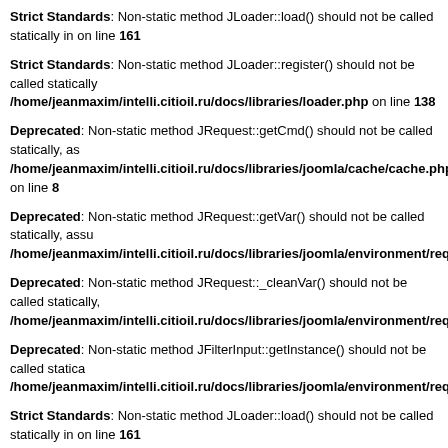Strict Standards: Non-static method JLoader::load() should not be called statically in on line 161
Strict Standards: Non-static method JLoader::register() should not be called statically /home/jeanmaxim/intelli.citioil.ru/docs/libraries/loader.php on line 138
Deprecated: Non-static method JRequest::getCmd() should not be called statically, as /home/jeanmaxim/intelli.citioil.ru/docs/libraries/joomla/cache/cache.php on line 8
Deprecated: Non-static method JRequest::getVar() should not be called statically, assu /home/jeanmaxim/intelli.citioil.ru/docs/libraries/joomla/environment/request.php
Deprecated: Non-static method JRequest::_cleanVar() should not be called statically, /home/jeanmaxim/intelli.citioil.ru/docs/libraries/joomla/environment/request.php
Deprecated: Non-static method JFilterInput::getInstance() should not be called statica /home/jeanmaxim/intelli.citioil.ru/docs/libraries/joomla/environment/request.php
Strict Standards: Non-static method JLoader::load() should not be called statically in on line 161
Strict Standards: Non-static method JLoader::register() should not be called statically /home/jeanmaxim/intelli.citioil.ru/docs/libraries/loader.php on line 138
Strict Standards: Declaration of JCacheStorage::get() should be compatible with JOb /home/jeanmaxim/intelli.citioil.ru/docs/libraries/joomla/cache/storage.php on li